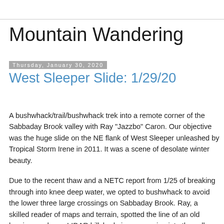Mountain Wandering
Thursday, January 30, 2020
West Sleeper Slide: 1/29/20
A bushwhack/trail/bushwhack trek into a remote corner of the Sabbaday Brook valley with Ray "Jazzbo" Caron. Our objective was the huge slide on the NE flank of West Sleeper unleashed by Tropical Storm Irene in 2011. It was a scene of desolate winter beauty.
Due to the recent thaw and a NETC report from 1/25 of breaking through into knee deep water, we opted to bushwhack to avoid the lower three large crossings on Sabbaday Brook. Ray, a skilled reader of maps and terrain, spotted the line of an old logging road on a LIDAR hillshade image,curving into the valley along the east side of the brook. After a 0.2 mile bushwhack from the Kano Highway